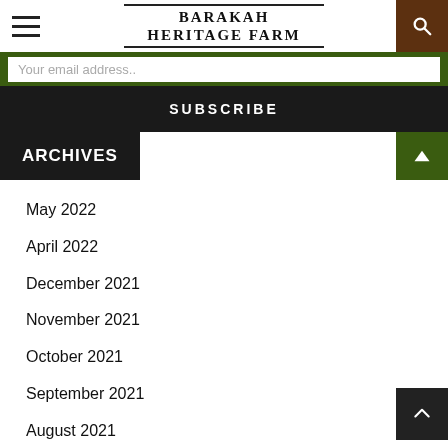BARAKAH HERITAGE FARM
Your email address..
SUBSCRIBE
ARCHIVES
May 2022
April 2022
December 2021
November 2021
October 2021
September 2021
August 2021
July 2021
June 2021
May 2021